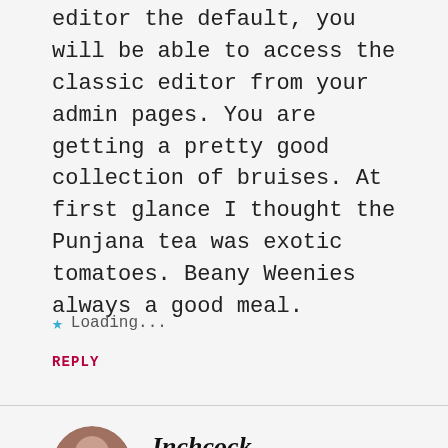editor the default, you will be able to access the classic editor from your admin pages. You are getting a pretty good collection of bruises. At first glance I thought the Punjana tea was exotic tomatoes. Beany Weenies always a good meal.
Loading...
REPLY
Inchcock
24TH MAY 2020 AT 09:34
Amornin’ to you, Sir.